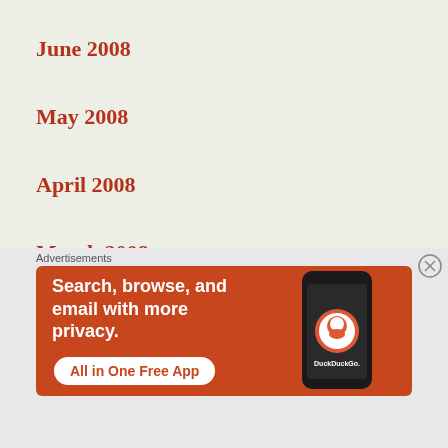June 2008
May 2008
April 2008
March 2008
February 2008
January 2008
[Figure (other): DuckDuckGo advertisement banner with orange background, text 'Search, browse, and email with more privacy. All in One Free App' and a smartphone showing the DuckDuckGo app]